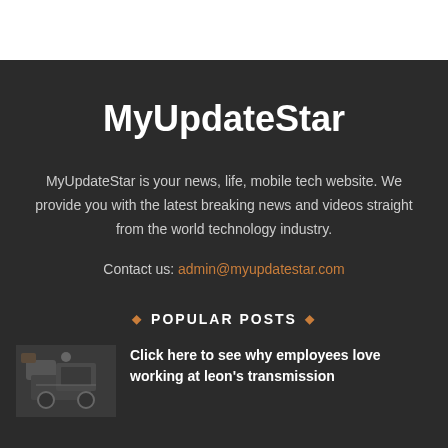MyUpdateStar
MyUpdateStar is your news, life, mobile tech website. We provide you with the latest breaking news and videos straight from the world technology industry.
Contact us: admin@myupdatestar.com
◆ POPULAR POSTS ◆
[Figure (photo): Thumbnail image of a person working on mechanical equipment]
Click here to see why employees love working at leon's transmission